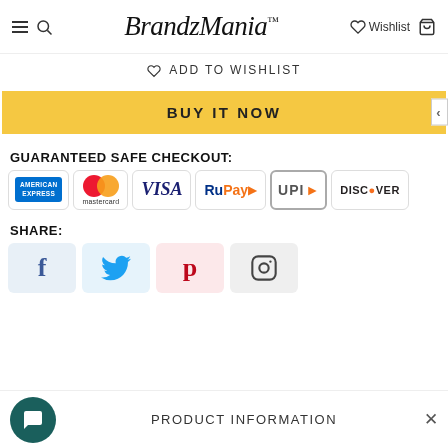BrandzMania™  Wishlist  [cart]
♡ ADD TO WISHLIST
BUY IT NOW
GUARANTEED SAFE CHECKOUT:
[Figure (infographic): Payment method icons: American Express, Mastercard, Visa, RuPay, UPI, Discover]
SHARE:
[Figure (infographic): Social share icons: Facebook, Twitter, Pinterest, Instagram]
PRODUCT INFORMATION